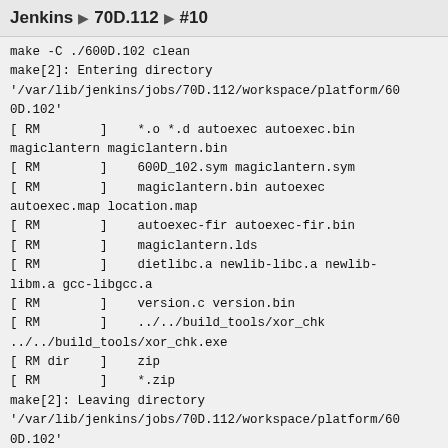Jenkins ▶ 70D.112 ▶ #10
make -C ./600D.102 clean
make[2]: Entering directory
'/var/lib/jenkins/jobs/70D.112/workspace/platform/600D.102'
[ RM        ]    *.o *.d autoexec autoexec.bin magiclantern magiclantern.bin
[ RM        ]    600D_102.sym magiclantern.sym
[ RM        ]    magiclantern.bin autoexec autoexec.map location.map
[ RM        ]    autoexec-fir autoexec-fir.bin
[ RM        ]    magiclantern.lds
[ RM        ]    dietlibc.a newlib-libc.a newlib-libm.a gcc-libgcc.a
[ RM        ]    version.c version.bin
[ RM        ]    ../../build_tools/xor_chk ../../build_tools/xor_chk.exe
[ RM dir    ]    zip
[ RM        ]    *.zip
make[2]: Leaving directory
'/var/lib/jenkins/jobs/70D.112/workspace/platform/600D.102'